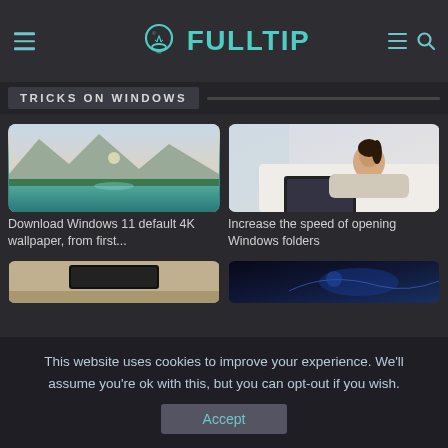FULLTIP
TRICKS ON WINDOWS
[Figure (photo): Teal mountain lake with forested shore and soft sky]
Download Windows 11 default 4K wallpaper, from first...
[Figure (photo): Young woman lying on bed using a laptop computer]
Increase the speed of opening Windows folders
[Figure (photo): Partial image - dark themed tech content (bottom left card)]
[Figure (photo): Partial image - dark blue glowing circuit/tech (bottom right card)]
This website uses cookies to improve your experience. We'll assume you're ok with this, but you can opt-out if you wish.